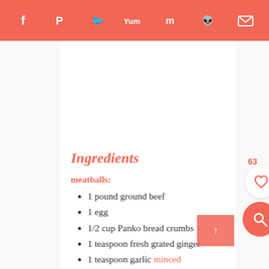Social share bar with icons: Facebook, Pinterest, Twitter, Yummly, Mix, Reddit, Email
Ingredients
meatballs:
1 pound ground beef
1 egg
1/2 cup Panko bread crumbs
1 teaspoon fresh grated ginger
1 teaspoon garlic minced
1/4 teaspoon salt
sauce:
1/2 cup soy sauce